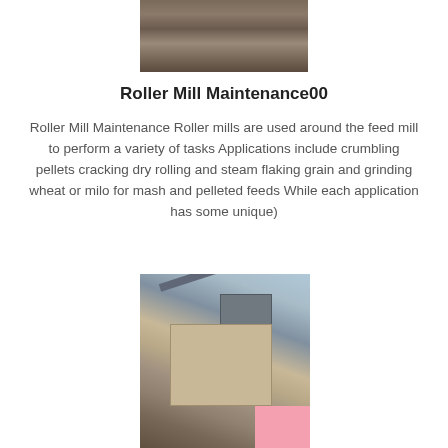[Figure (photo): Top photograph showing a dirt/earth scene, partially visible at top of page]
Roller Mill Maintenance00
Roller Mill Maintenance Roller mills are used around the feed mill to perform a variety of tasks Applications include crumbling pellets cracking dry rolling and steam flaking grain and grinding wheat or milo for mash and pelleted feeds While each application has some unique)
[Figure (photo): Photograph of industrial roller mill machinery with conveyor belts against a blue sky background]